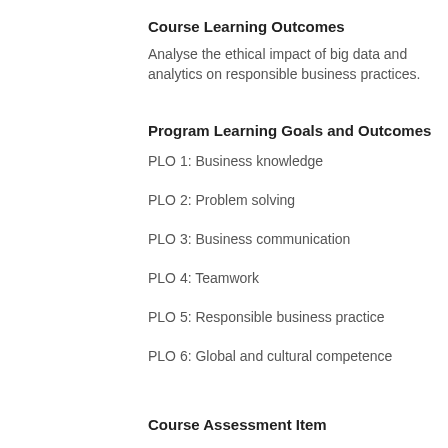Course Learning Outcomes
Analyse the ethical impact of big data and analytics on responsible business practices.
Program Learning Goals and Outcomes
PLO 1: Business knowledge
PLO 2: Problem solving
PLO 3: Business communication
PLO 4: Teamwork
PLO 5: Responsible business practice
PLO 6: Global and cultural competence
Course Assessment Item